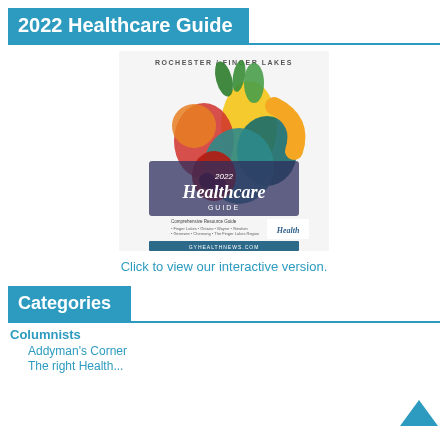2022 Healthcare Guide
[Figure (illustration): Cover of the 2022 Healthcare Guide for Rochester / Finger Lakes region, showing colorful fruit and vegetable illustrations with the text '2022 Healthcare Guide' and 'ROCHESTER / FINGER LAKES' at top, with 'oysHealthNews.com' branding at bottom.]
Click to view our interactive version.
Categories
Columnists
Addyman's Corner
The right Health...